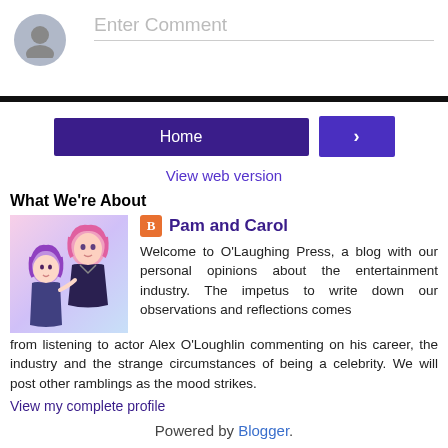[Figure (other): Comment input area with grey avatar circle and 'Enter Comment' placeholder text]
[Figure (other): Navigation bar with 'Home' button and '>' next button]
View web version
What We're About
[Figure (illustration): Anime-style illustration of two females with pink/purple hair]
Pam and Carol
Welcome to O'Laughing Press, a blog with our personal opinions about the entertainment industry. The impetus to write down our observations and reflections comes from listening to actor Alex O'Loughlin commenting on his career, the industry and the strange circumstances of being a celebrity. We will post other ramblings as the mood strikes.
View my complete profile
Powered by Blogger.